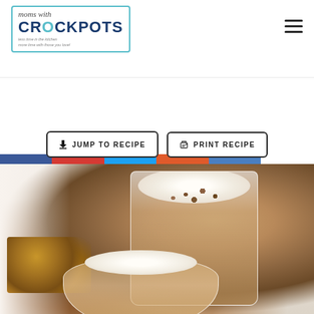moms with CROCKPOTS
[Figure (screenshot): Social sharing buttons: Facebook, Pinterest, Twitter, Yummly, Email, and share count]
[Figure (other): Two action buttons: JUMP TO RECIPE and PRINT RECIPE]
[Figure (photo): Photo of a glass filled with a caramel/coffee drink topped with whipped cream and crushed nuts, with cookies in background and a bowl of the same drink in foreground]